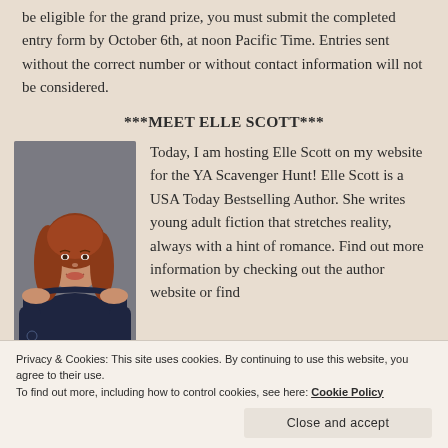be eligible for the grand prize, you must submit the completed entry form by October 6th, at noon Pacific Time. Entries sent without the correct number or without contact information will not be considered.
***MEET ELLE SCOTT***
[Figure (photo): Portrait photo of Elle Scott, a woman with long auburn hair wearing a dark navy top, photographed against a grey background.]
Today, I am hosting Elle Scott on my website for the YA Scavenger Hunt! Elle Scott is a USA Today Bestselling Author. She writes young adult fiction that stretches reality, always with a hint of romance. Find out more information by checking out the author website or find
Privacy & Cookies: This site uses cookies. By continuing to use this website, you agree to their use.
To find out more, including how to control cookies, see here: Cookie Policy
Close and accept